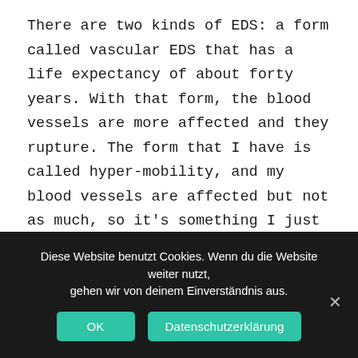There are two kinds of EDS: a form called vascular EDS that has a life expectancy of about forty years. With that form, the blood vessels are more affected and they rupture. The form that I have is called hyper-mobility, and my blood vessels are affected but not as much, so it's something I just need to be aware of. My life expectancy is normal, I just need to keep an eye on some things.
So I will continue with my daily yoga practice that has helped me incredibly in dealing with this condition over the years and I'll try to spread the word on how to live with EDS
Diese Website benutzt Cookies. Wenn du die Website weiter nutzt, gehen wir von deinem Einverständnis aus.
OK
Datenschutzerklärung